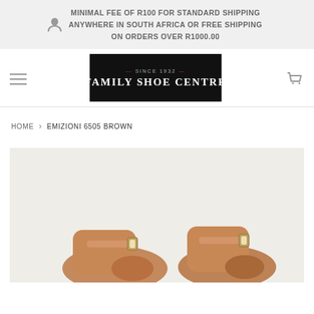MINIMAL FEE OF R100 FOR STANDARD SHIPPING ANYWHERE IN SOUTH AFRICA OR FREE SHIPPING ON ORDERS OVER R1000.00
[Figure (logo): Family Shoe Centre logo — black rectangle with 'SINCE 1932' in grey small caps and 'FAMILY SHOE CENTRE' in large white serif text]
HOME › EMIZIONI 6505 BROWN
[Figure (photo): Product photo of brown Emizioni 6505 shoes on a light grey/beige background, showing the front/toe area of two shoes]